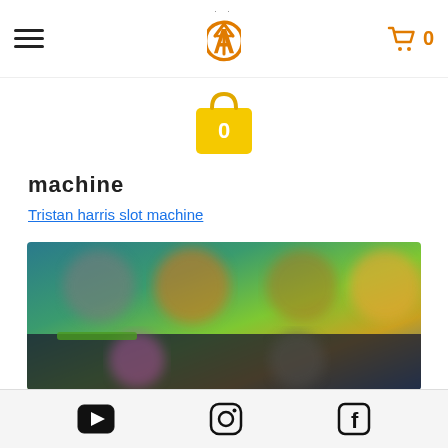Navigation header with hamburger menu, YP logo, and cart with 0 items
[Figure (illustration): Yellow shopping bag icon with number 0 on it]
machine
Tristan harris slot machine
[Figure (screenshot): Blurred screenshot of a colorful app or game interface showing various character icons and game elements]
Social media icons: YouTube, Instagram, Facebook